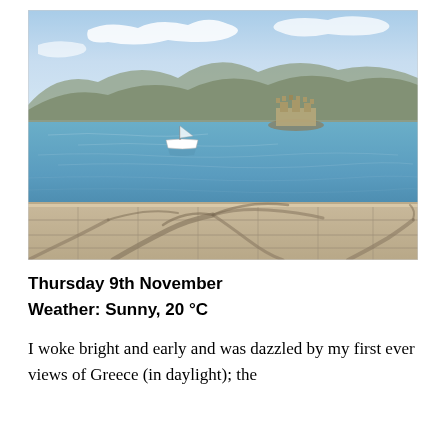[Figure (photo): A coastal scene in Greece showing a calm blue bay with a boat moored in the water, a small fortress/castle on an islet in the background, mountains beyond, blue sky with light clouds, and a stone waterfront promenade in the foreground with dramatic palm tree shadows cast across the paving stones.]
Thursday 9th November
Weather: Sunny, 20 °C
I woke bright and early and was dazzled by my first ever views of Greece (in daylight); the